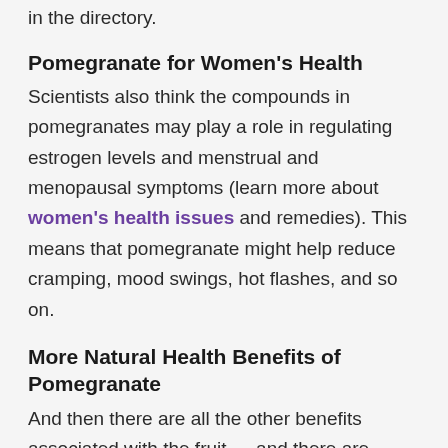in the directory.
Pomegranate for Women's Health
Scientists also think the compounds in pomegranates may play a role in regulating estrogen levels and menstrual and menopausal symptoms (learn more about women's health issues and remedies). This means that pomegranate might help reduce cramping, mood swings, hot flashes, and so on.
More Natural Health Benefits of Pomegranate
And then there are all the other benefits associated with the fruit — and there are plenty of those. Consider these interesting findings: